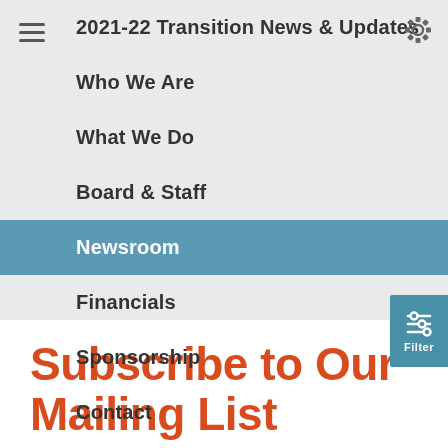2021-22 Transition News & Updates
Who We Are
What We Do
Board & Staff
Newsroom
Financials
Sponsorship
Contact
Subscribe to Our Mailing List